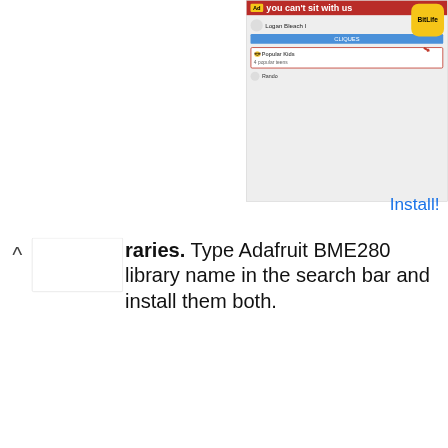[Figure (screenshot): Advertisement banner for BitLife app partially visible at top right of page, showing 'you can't sit with us' tagline and Install! link]
raries. Type Adafruit BME280 library name in the search bar and install them both.
[Figure (screenshot): Arduino IDE Library Manager screenshot showing Adafruit BME280 Library search result by Adafruit, with description 'Arduino library for BME280 sensors. Arduino library for BME280 humidity and pressure sensors.' and More info link, Version 2.1.4 dropdown and Install button]
Open your Arduino IDE and go to Sketch > Include Libraries > Manage Libraries. Type Adafruit unified sensor library name in the search bar and install it.
[Figure (screenshot): Partial Arduino IDE Library Manager screenshot showing search bar with 'Adafruit Unified Sensor' text]